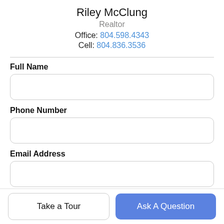Riley McClung
Realtor
Office: 804.598.4343
Cell: 804.836.3536
Full Name
Phone Number
Email Address
Take a Tour
Ask A Question